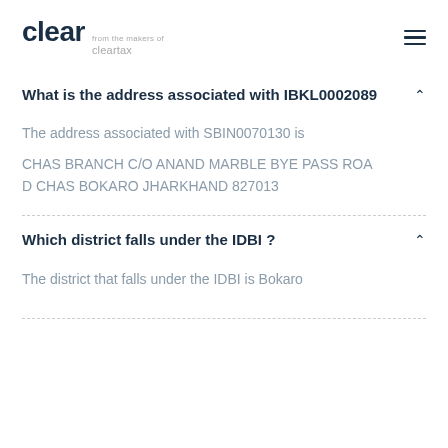clear from the makers of cleartax
What is the address associated with IBKL0002089
The address associated with SBIN0070130 is
CHAS BRANCH C/O ANAND MARBLE BYE PASS ROAD CHAS BOKARO JHARKHAND 827013
Which district falls under the IDBI ?
The district that falls under the IDBI is Bokaro